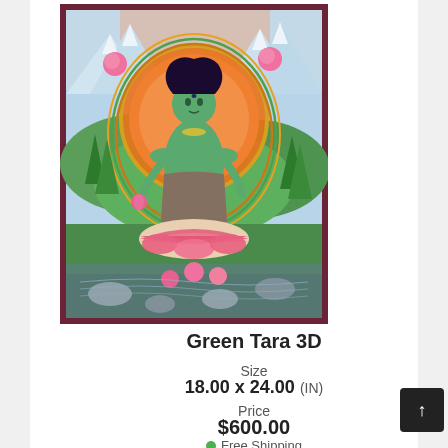[Figure (illustration): Tibetan thangka painting of Green Tara deity, seated in lotus position on a lotus throne, green-skinned, surrounded by an orange halo and elaborate decorative elements, flowers, mountains and clouds in background, in a dark red/maroon frame border.]
Green Tara 3D
Size
18.00 x 24.00 (IN)
Price
$600.00
Free Shipping